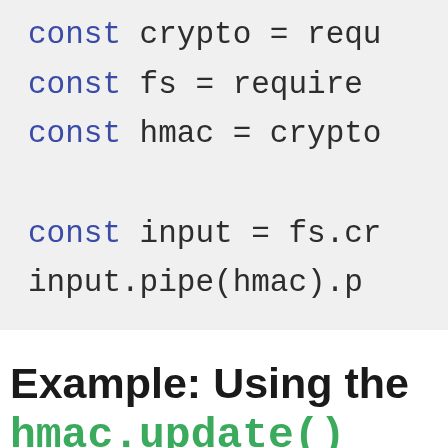[Figure (screenshot): Code block showing Node.js code with const declarations for crypto, fs, hmac, input, and input.pipe(hmac) call. Keywords 'const' in blue/purple, rest in dark color.]
Example: Using the
hmac.update() and